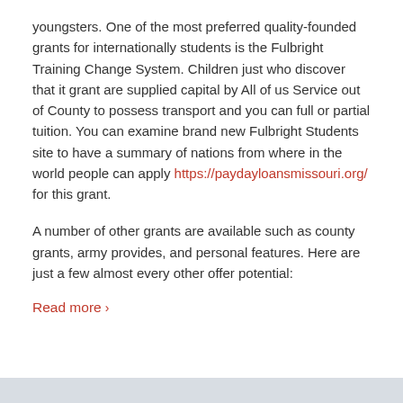youngsters. One of the most preferred quality-founded grants for internationally students is the Fulbright Training Change System. Children just who discover that it grant are supplied capital by All of us Service out of County to possess transport and you can full or partial tuition. You can examine brand new Fulbright Students site to have a summary of nations from where in the world people can apply https://paydayloansmissouri.org/ for this grant.
A number of other grants are available such as county grants, army provides, and personal features. Here are just a few almost every other offer potential:
Read more >